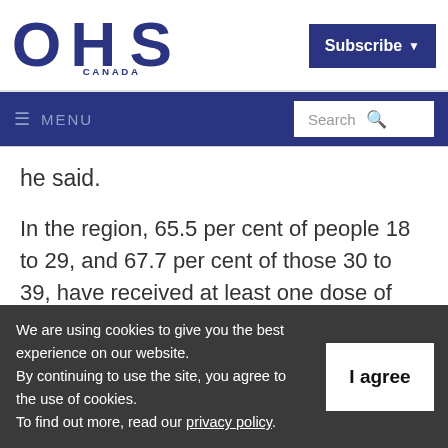[Figure (logo): OHS Canada logo — large bold dark blue letters OHS with CANADA below in smaller caps]
Subscribe ▾
≡ MENU    Search 🔍
he said.
In the region, 65.5 per cent of people 18 to 29, and 67.7 per cent of those 30 to 39, have received at least one dose of COVID-19 vaccine.
We are using cookies to give you the best experience on our website.
By continuing to use the site, you agree to the use of cookies.
To find out more, read our privacy policy.